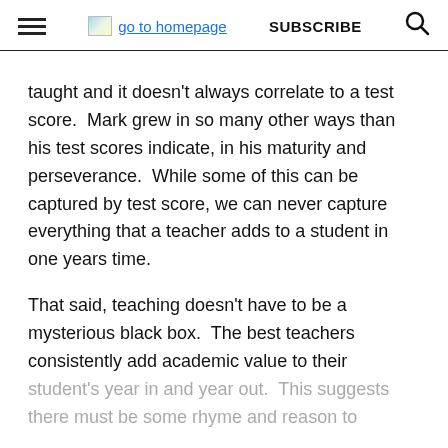go to homepage | SUBSCRIBE
taught and it doesn't always correlate to a test score.  Mark grew in so many other ways than his test scores indicate, in his maturity and perseverance.  While some of this can be captured by test score, we can never capture everything that a teacher adds to a student in one years time.
That said, teaching doesn't have to be a mysterious black box.  The best teachers consistently add academic value to their student's year in and year out.  This suggests there must be some rhyme and reason to